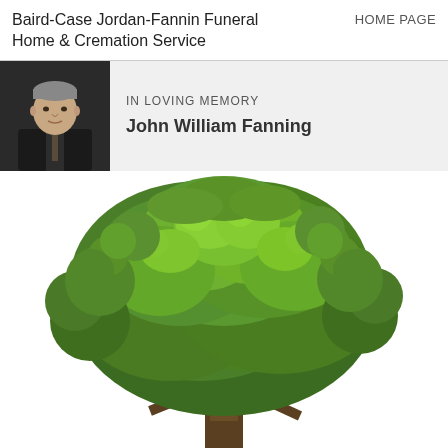Baird-Case Jordan-Fannin Funeral Home & Cremation Service
HOME PAGE
IN LOVING MEMORY
John William Fanning
[Figure (photo): Portrait photo of John William Fanning, an older man in a dark suit with a tie, gray hair, on a dark background]
[Figure (photo): A large green deciduous tree with full leafy canopy on a white background, trunk visible at bottom center]